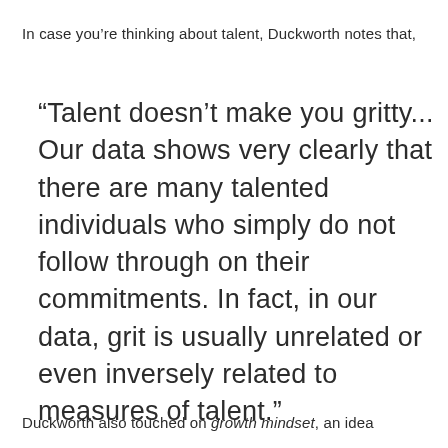In case you're thinking about talent, Duckworth notes that,
“Talent doesn’t make you gritty... Our data shows very clearly that there are many talented individuals who simply do not follow through on their commitments. In fact, in our data, grit is usually unrelated or even inversely related to measures of talent.”
Duckworth also touched on growth mindset, an idea